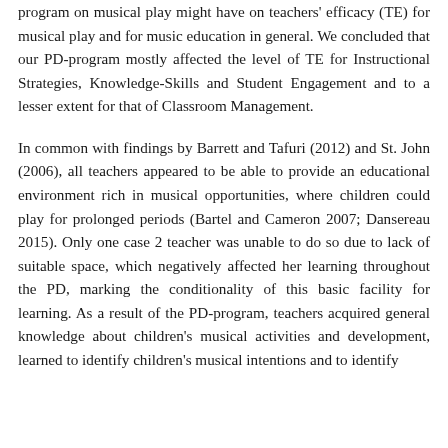program on musical play might have on teachers' efficacy (TE) for musical play and for music education in general. We concluded that our PD-program mostly affected the level of TE for Instructional Strategies, Knowledge-Skills and Student Engagement and to a lesser extent for that of Classroom Management.
In common with findings by Barrett and Tafuri (2012) and St. John (2006), all teachers appeared to be able to provide an educational environment rich in musical opportunities, where children could play for prolonged periods (Bartel and Cameron 2007; Dansereau 2015). Only one case 2 teacher was unable to do so due to lack of suitable space, which negatively affected her learning throughout the PD, marking the conditionality of this basic facility for learning. As a result of the PD-program, teachers acquired general knowledge about children's musical activities and development, learned to identify children's musical intentions and to identify